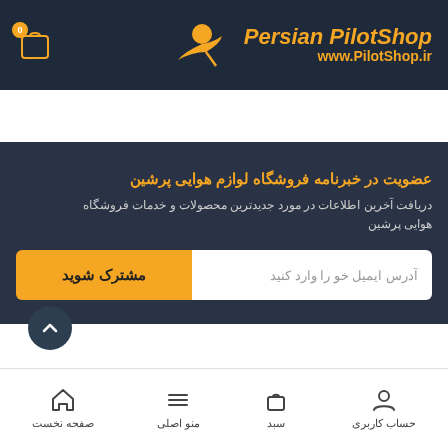Persian PilotShop www.PilotShop.ir
عضویت در خبرنامه فروشگاه لوازم هوایی پرشین
دریافت آخرین اطلاعات در مورد جدیدترین محصولات و خدمات فروشگاه هوایی پرشین
مشترک شوید | آدرس ایمیل خو را وارد کنید
صفحه نخست | منو اصلی | سبد | حساب کاربری